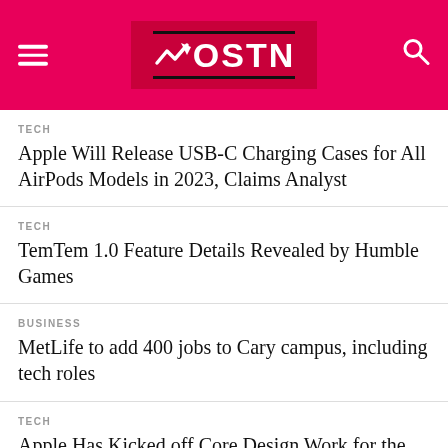OSTN
TECH
Apple Will Release USB-C Charging Cases for All AirPods Models in 2023, Claims Analyst
TECH
TemTem 1.0 Feature Details Revealed by Humble Games
BUSINESS
MetLife to add 400 jobs to Cary campus, including tech roles
TECH
Apple Has Kicked off Core Design Work for the M3, Will Launch in H2 2023 at the Earliest on TSMC's Improved N3E